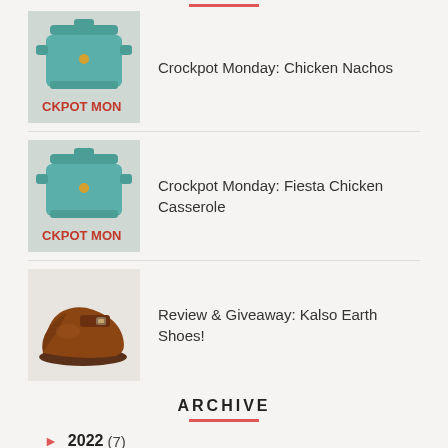Crockpot Monday: Chicken Nachos
Crockpot Monday: Fiesta Chicken Casserole
Review & Giveaway: Kalso Earth Shoes!
ARCHIVE
2022 (7)
2021 (21)
2020 (59)
2019 (75)
2018 (110)